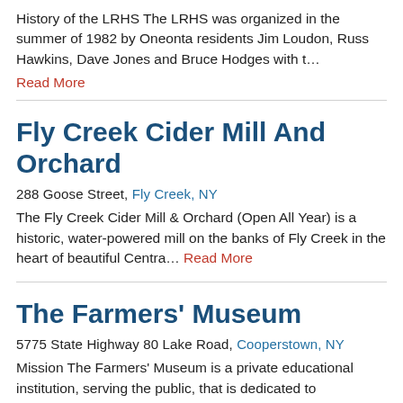History of the LRHS The LRHS was organized in the summer of 1982 by Oneonta residents Jim Loudon, Russ Hawkins, Dave Jones and Bruce Hodges with t…
Read More
Fly Creek Cider Mill And Orchard
288 Goose Street, Fly Creek, NY
The Fly Creek Cider Mill & Orchard (Open All Year) is a historic, water-powered mill on the banks of Fly Creek in the heart of beautiful Centra… Read More
The Farmers' Museum
5775 State Highway 80 Lake Road, Cooperstown, NY
Mission The Farmers' Museum is a private educational institution, serving the public, that is dedicated to